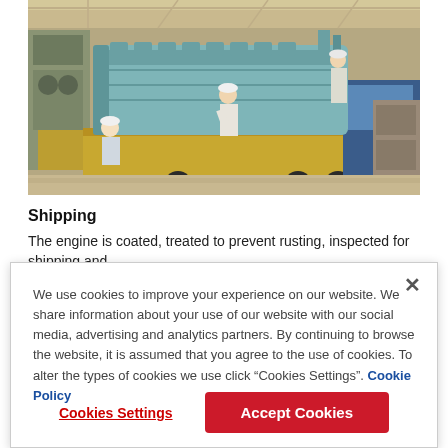[Figure (photo): Factory floor photo showing workers in hard hats working on a large marine/industrial engine (light blue/teal colored) mounted on a flatbed truck or transport platform inside a warehouse/manufacturing facility.]
Shipping
The engine is coated, treated to prevent rusting, inspected for shipping and
We use cookies to improve your experience on our website. We share information about your use of our website with our social media, advertising and analytics partners. By continuing to browse the website, it is assumed that you agree to the use of cookies. To alter the types of cookies we use click “Cookies Settings”. Cookie Policy